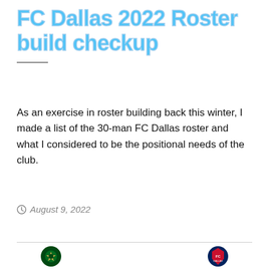FC Dallas 2022 Roster build checkup
As an exercise in roster building back this winter, I made a list of the 30-man FC Dallas roster and what I considered to be the positional needs of the club.
August 9, 2022
[Figure (illustration): Jersey color matchup graphic showing Portland Timbers (green, orange jerseys), Officials (orange jersey), and FC Dallas (glow blue, green jerseys) with team logos and jersey color labels]